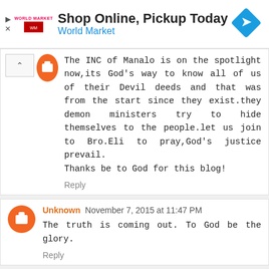[Figure (screenshot): Advertisement banner for World Market: 'Shop Online, Pickup Today' with World Market logo and blue arrow icon]
The INC of Manalo is on the spotlight now,its God's way to know all of us of their Devil deeds and that was from the start since they exist.they demon ministers try to hide themselves to the people.let us join to Bro.Eli to pray,God's justice prevail.
Thanks be to God for this blog!
Reply
Unknown  November 7, 2015 at 11:47 PM
The truth is coming out. To God be the glory.
Reply
Unknown  November 7, 2015 at 11:49 PM